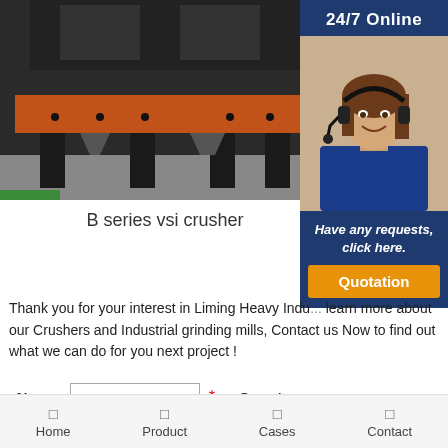[Figure (photo): Industrial B series vsi crusher machine in a factory setting, with orange and black metal frame]
[Figure (photo): 24/7 Online customer support panel with a female agent wearing headset and blue uniform, with 'Have any requests, click here.' text and an orange Quotation button]
B series vsi crusher
Thank you for your interest in Liming Heavy Indu... learn more about our Crushers and Industrial grinding mills, Contact us Now to find out what we can do for you next project !
Name: [input field] * Country:
Home  Product  Cases  Contact